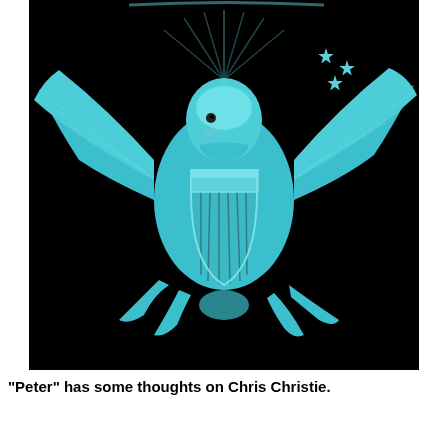[Figure (illustration): Close-up photograph/illustration of the United States Great Seal embossed design — a bald eagle with spread wings holding a shield on its chest, rendered in teal/cyan color against a black background. Stars visible in the upper right area. The eagle's talons hold arrows and an olive branch. Partial olive branch and arrows visible at bottom left and right edges.]
"Peter" has some thoughts on Chris Christie.